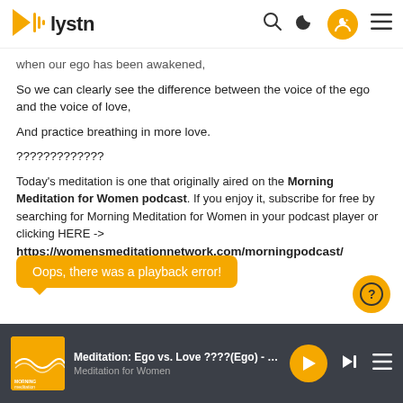lystn
when our ego has been awakened,
So we can clearly see the difference between the voice of the ego and the voice of love,
And practice breathing in more love.
?????????????
Today's meditation is one that originally aired on the Morning Meditation for Women podcast. If you enjoy it, subscribe for free by searching for Morning Meditation for Women in your podcast player or clicking HERE -> https://womensmeditationnetwork.com/morningpodcast/
Oops, there was a playback error!
Meditation: Ego vs. Love ????(Ego) - from ... | Meditation for Women